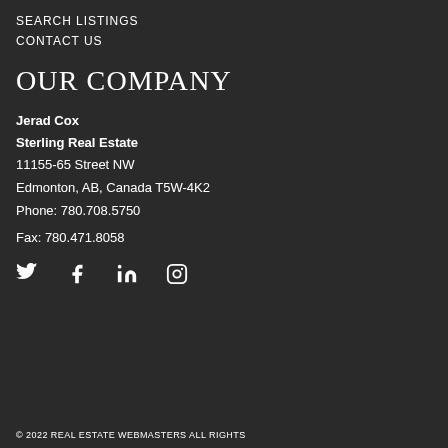SEARCH LISTINGS
CONTACT US
OUR COMPANY
Jerad Cox
Sterling Real Estate
11155-65 Street NW
Edmonton, AB, Canada T5W-4K2
Phone: 780.708.5750
Fax: 780.471.8058
[Figure (other): Social media icons: Twitter, Facebook, LinkedIn, Instagram]
© 2022 REAL ESTATE WEBMASTERS ALL RIGHTS